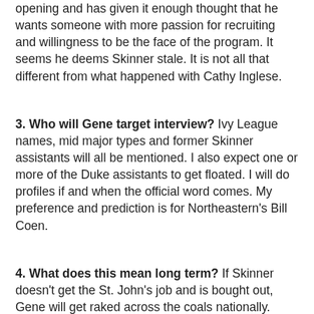opening and has given it enough thought that he wants someone with more passion for recruiting and willingness to be the face of the program. It seems he deems Skinner stale. It is not all that different from what happened with Cathy Inglese.
3. Who will Gene target interview? Ivy League names, mid major types and former Skinner assistants will all be mentioned. I also expect one or more of the Duke assistants to get floated. I will do profiles if and when the official word comes. My preference and prediction is for Northeastern's Bill Coen.
4. What does this mean long term? If Skinner doesn't get the St. John's job and is bought out, Gene will get raked across the coals nationally. Regardless of how you want to term this or the past coaching changes, this will be the fourth very successful coach Gene got heavy handed with joining TOB, Jags, and Inglese. I also think Al is under appreciated and the wrong coach could send us into a sharp decline. But in the long term, BC will be fine. It is just unfortunate that we